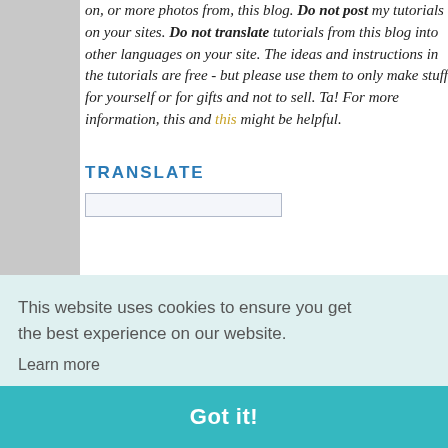on, or more photos from, this blog. Do not post my tutorials on your sites. Do not translate tutorials from this blog into other languages on your site. The ideas and instructions in the tutorials are free - but please use them to only make stuff for yourself or for gifts and not to sell. Ta! For more information, this and this might be helpful.
TRANSLATE
Camera is he comes
Advent is
And I feel years I've I was a m thing was children. C even.
This website uses cookies to ensure you get the best experience on our website. Learn more
Got it!